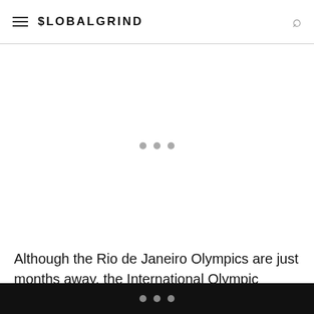GLOBALGRIND
[Figure (other): Advertisement placeholder area with three gray loading dots centered in a large white space]
Although the Rio de Janeiro Olympics are just months away, the International Olympic Committee has decided not to cancel the games. Brazilian officials are giving out